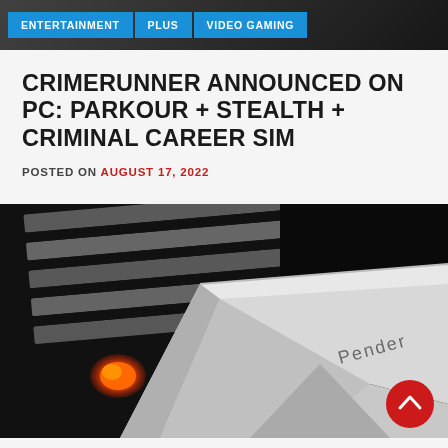ENTERTAINMENT | PLUS | VIDEO GAMING
CRIMERUNNER ANNOUNCED ON PC: PARKOUR + STEALTH + CRIMINAL CAREER SIM
POSTED ON AUGUST 17, 2022
[Figure (photo): Close-up photo of a sleek metallic device resembling a tablet or controller with 'Pender' branding, an orange glowing element on the left side, against a dark background with metallic slats visible. A red circular back-to-top button is visible in the bottom-right corner.]